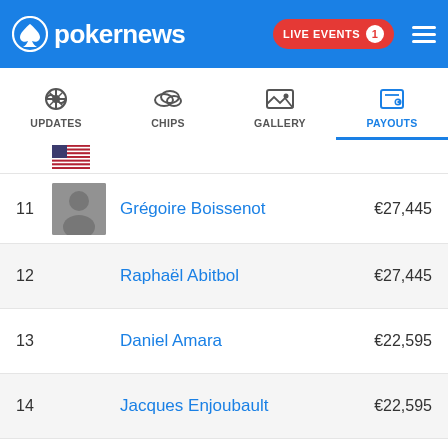PokerNews — LIVE EVENTS 1
[Figure (screenshot): Navigation tabs: UPDATES, CHIPS, GALLERY, PAYOUTS (active)]
| Place | Player | Payout |
| --- | --- | --- |
| 11 | Grégoire Boissenot | €27,445 |
| 12 | Raphaël Abitbol | €27,445 |
| 13 | Daniel Amara | €22,595 |
| 14 | Jacques Enjoubault | €22,595 |
| 15 | Bryan Colin | €22,595 |